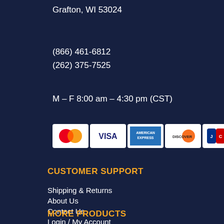Grafton, WI 53024
(866) 461-6812
(262) 375-7525
M – F 8:00 am – 4:30 pm (CST)
[Figure (other): Payment method icons: MasterCard, Visa, American Express, Discover, JCB, Diners Club]
CUSTOMER SUPPORT
Shipping & Returns
About Us
Contact Us
Login / My Account
MORE PRODUCTS